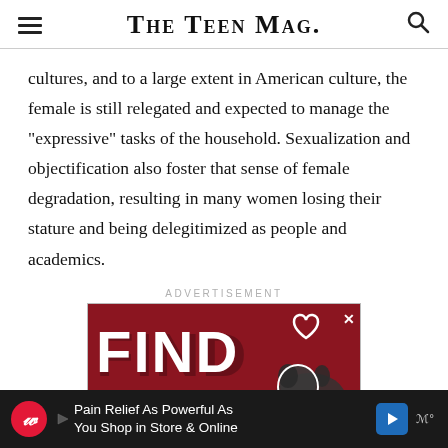The Teen Mag.
cultures, and to a large extent in American culture, the female is still relegated and expected to manage the "expressive" tasks of the household. Sexualization and objectification also foster that sense of female degradation, resulting in many women losing their stature and being delegitimized as people and academics.
ADVERTISEMENT
[Figure (photo): Advertisement banner with red background showing 'FIND' text in large white letters, a heart outline, and a dog photo. Below is a Walgreens banner ad reading 'Pain Relief As Powerful As You Shop in Store & Online']